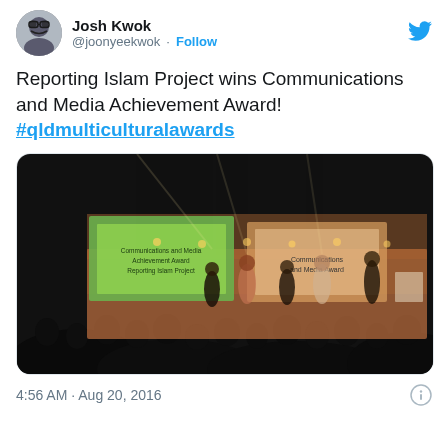Josh Kwok @joonyeekwok · Follow
Reporting Islam Project wins Communications and Media Achievement Award! #qldmulticulturalawards
[Figure (photo): Dark event photo showing a stage with an audience in silhouette; a green presentation screen is visible on the left showing 'Communications and Media Achievement Award'; people are standing on an orange-lit stage in the center-right.]
4:56 AM · Aug 20, 2016